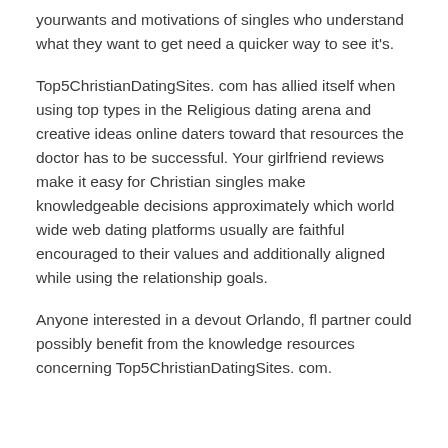yourwants and motivations of singles who understand what they want to get need a quicker way to see it's.
Top5ChristianDatingSites. com has allied itself when using top types in the Religious dating arena and creative ideas online daters toward that resources the doctor has to be successful. Your girlfriend reviews make it easy for Christian singles make knowledgeable decisions approximately which world wide web dating platforms usually are faithful encouraged to their values and additionally aligned while using the relationship goals.
Anyone interested in a devout Orlando, fl partner could possibly benefit from the knowledge resources concerning Top5ChristianDatingSites. com.